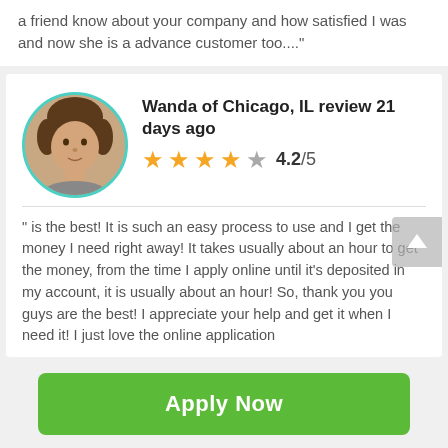a friend know about your company and how satisfied I was and now she is a advance customer too...."
Wanda of Chicago, IL review 21 days ago
4.2/5
" is the best! It is such an easy process to use and I get the money I need right away! It takes usually about an hour to get the money, from the time I apply online until it's deposited in my account, it is usually about an hour! So, thank you you guys are the best! I appreciate your help and get it when I need it! I just love the online application
Apply Now
Applying does NOT affect your credit score!
No credit check to apply.